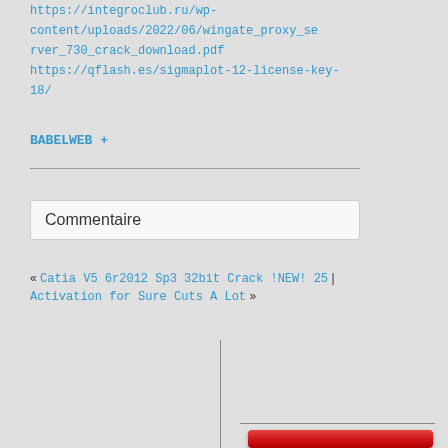https://integroclub.ru/wp-content/uploads/2022/06/wingate_proxy_server_730_crack_download.pdf https://qflash.es/sigmaplot-12-license-key-18/
BABELWEB +
Commentaire
« Catia V5 6r2012 Sp3 32bit Crack !NEW! 25 | Activation for Sure Cuts A Lot »
[Figure (screenshot): Red button labeled Entrer with a vertical divider line and partial second red button at bottom]